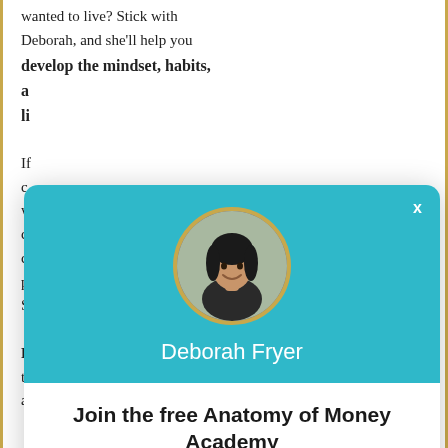wanted to live? Stick with Deborah, and she'll help you develop the mindset, habits, a... li...
If... c... w... c... c... p... S...
F... t... a...
[Figure (screenshot): Modal popup overlay with teal header showing circular photo of Deborah Fryer, white content area with title 'Join the free Anatomy of Money Academy', descriptive text, and green 'Learn More' button]
Deborah Fryer
Join the free Anatomy of Money Academy
Learn how to tap into greater ease, abundance and freedom (without working harder or selling your soul).
Learn More